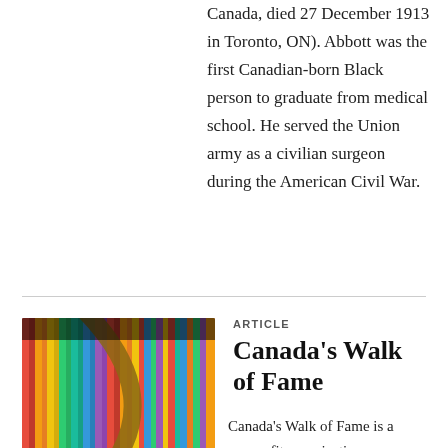Canada, died 27 December 1913 in Toronto, ON). Abbott was the first Canadian-born Black person to graduate from medical school. He served the Union army as a civilian surgeon during the American Civil War.
[Figure (photo): Close-up photo of colorful record album spines lined up on a shelf, with a curved brown wooden arc visible]
ARTICLE
Canada's Walk of Fame
Canada's Walk of Fame is a nonprofit organization